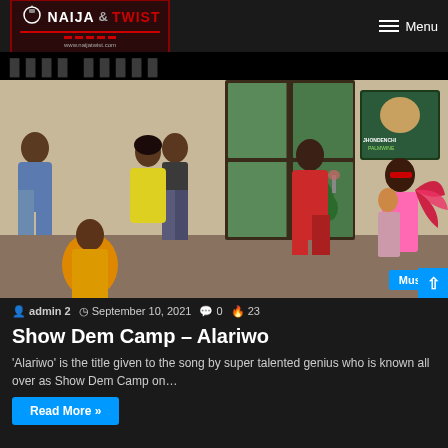NAIJA TWIST — Menu
[Figure (illustration): Digital illustration of people dancing and socializing at a party scene. A couple dances in the center, a woman in red holds a drink, and another woman with a fan poses. A Jhondenchi Palmwine poster is on the wall. Music badge in bottom right corner.]
admin 2  September 10, 2021  0  23
Show Dem Camp – Alariwo
'Alariwo' is the title given to the song by super talented genius who is known all over as Show Dem Camp on…
Read More »